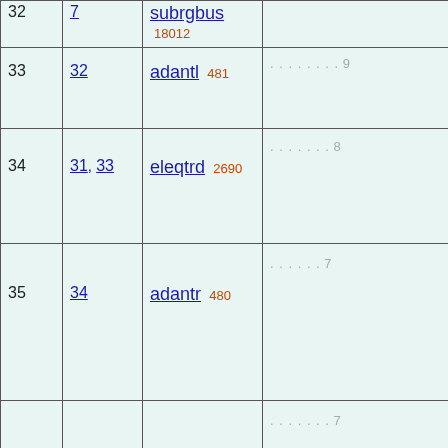| # | Depends on | Theorem/Label | Dots/Usage |
| --- | --- | --- | --- |
| 32 | 7 | subrgbus 18012 |  |
| 33 | 32 | adantl 481 | . . . . . . . . 9 |
| 34 | 31, 33 | eleqtrd 2690 | . . . . . . . 8 |
| 35 | 34 | adantr 480 | . . . . . . 7 |
| 36 |  | eqid 2610 | . . . . . . . 7 |
| 37 | 35, 36 | fmptd 6292 | . . . . . 6 |
|  |  |  |  |